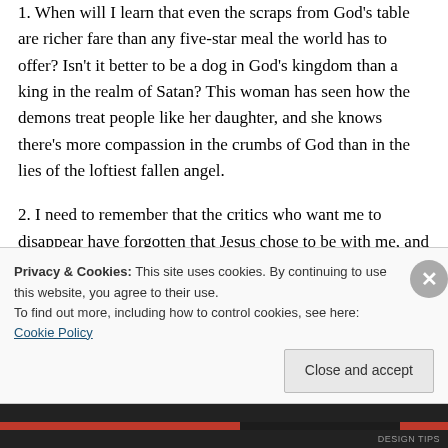1. When will I learn that even the scraps from God's table are richer fare than any five-star meal the world has to offer? Isn't it better to be a dog in God's kingdom than a king in the realm of Satan? This woman has seen how the demons treat people like her daughter, and she knows there's more compassion in the crumbs of God than in the lies of the loftiest fallen angel.
2. I need to remember that the critics who want me to disappear have forgotten that Jesus chose to be with me, and I'll stand in His presence as
Privacy & Cookies: This site uses cookies. By continuing to use this website, you agree to their use.
To find out more, including how to control cookies, see here: Cookie Policy